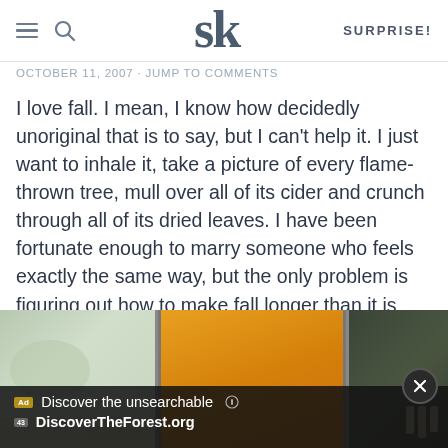SK — SURPRISE!
OCTOBER 11, 2007 · JUMP TO COMMENTS
I love fall. I mean, I know how decidedly unoriginal that is to say, but I can't help it. I just want to inhale it, take a picture of every flame-thrown tree, mull over all of its cider and crunch through all of its dried leaves. I have been fortunate enough to marry someone who feels exactly the same way, but the only problem is figuring out how to make fall longer than it is and that solution, my friends, is to drive north to catch the early show.
[Figure (photo): Three photos showing fall foliage: left shows blurred green/grey outdoor scene, center shows bright orange/yellow fall leaves, right shows dark forest scene with people walking.]
Discover the unsearchable — DiscoverTheForest.org